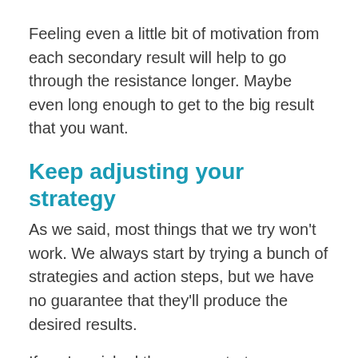Feeling even a little bit of motivation from each secondary result will help to go through the resistance longer. Maybe even long enough to get to the big result that you want.
Keep adjusting your strategy
As we said, most things that we try won't work. We always start by trying a bunch of strategies and action steps, but we have no guarantee that they'll produce the desired results.
If you've picked the wrong strategy, no matter for how long you keep extending the motivation and look for the “results point”, it’s not going to happen.